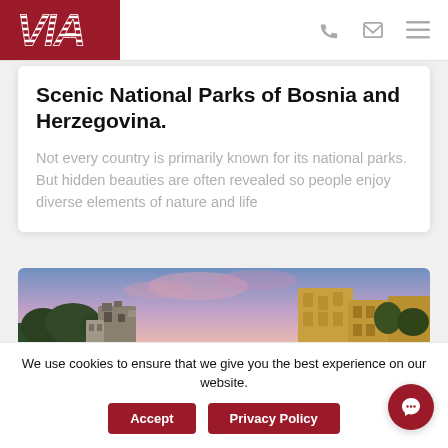VIA logo, phone icon, email icon, menu icon
Scenic National Parks of Bosnia and Herzegovina.
Not every country is primarily known for its national parks. But hidden beauties are often revealed so people enjoy diverse elements of nature and life
[Figure (photo): Panoramic photo of Bosnia and Herzegovina showing historic buildings and tower under a colorful pink and blue sunset sky]
We use cookies to ensure that we give you the best experience on our website.